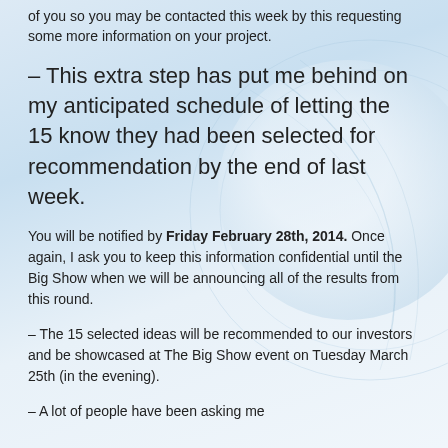of you so you may be contacted this week by this requesting some more information on your project.
– This extra step has put me behind on my anticipated schedule of letting the 15 know they had been selected for recommendation by the end of last week.
You will be notified by Friday February 28th, 2014. Once again, I ask you to keep this information confidential until the Big Show when we will be announcing all of the results from this round.
– The 15 selected ideas will be recommended to our investors and be showcased at The Big Show event on Tuesday March 25th (in the evening).
– A lot of people have been asking me